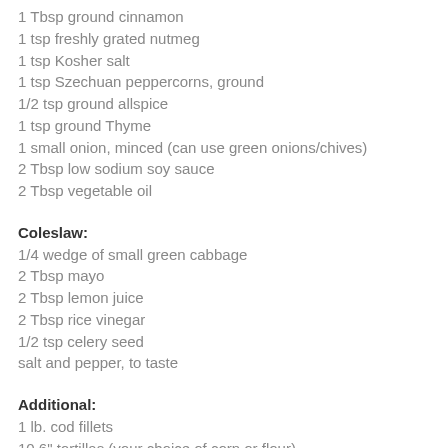1 Tbsp ground cinnamon
1 tsp freshly grated nutmeg
1 tsp Kosher salt
1 tsp Szechuan peppercorns, ground
1/2 tsp ground allspice
1 tsp ground Thyme
1 small onion, minced (can use green onions/chives)
2 Tbsp low sodium soy sauce
2 Tbsp vegetable oil
Coleslaw:
1/4 wedge of small green cabbage
2 Tbsp mayo
2 Tbsp lemon juice
2 Tbsp rice vinegar
1/2 tsp celery seed
salt and pepper, to taste
Additional:
1 lb. cod fillets
10 6" tortillas (your choice of corn or flour)